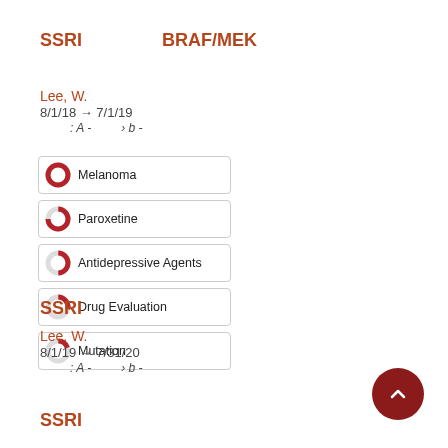SSRI    BRAF/MEK
Lee, W.
8/1/18 → 7/1/19
: A -        › b -
Melanoma | Paroxetine | Antidepressive Agents | Drug Evaluation | Mutation
SSRI
Lee, W.
8/1/19 → 7/31/20
: A -        › b -
SSRI